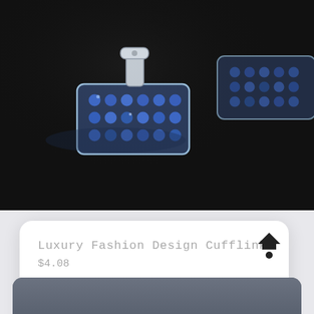[Figure (photo): Close-up photo of silver cufflinks with blue crystal/rhinestone rectangular face on a black background]
Luxury Fashion Design Cufflink
$4.08
SELECT OPTIONS
[Figure (other): Back-to-top navigation icon (house/arrow shape) in dark color]
[Figure (photo): Bottom of page showing the top edge of another product card with a dark gray background]